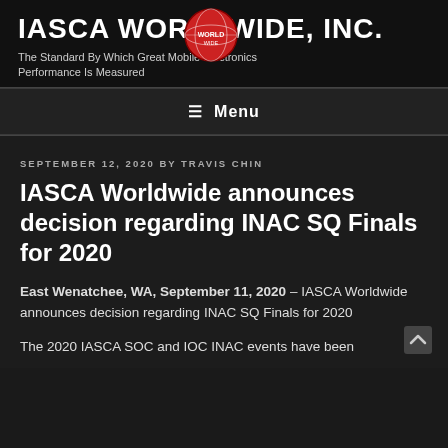IASCA WORLDWIDE, INC.
The Standard By Which Great Mobile Electronics Performance Is Measured
≡ Menu
SEPTEMBER 12, 2020 BY TRAVIS CHIN
IASCA Worldwide announces decision regarding INAC SQ Finals for 2020
East Wenatchee, WA, September 11, 2020 – IASCA Worldwide announces decision regarding INAC SQ Finals for 2020
The 2020 IASCA SOC and IOC INAC events have been